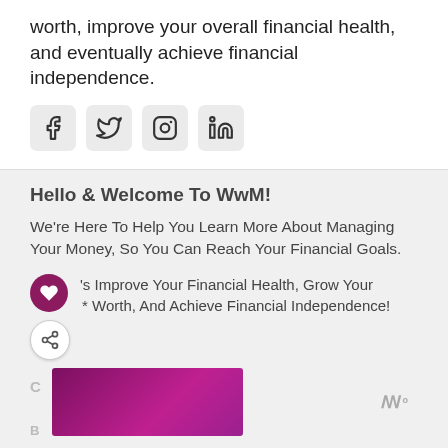worth, improve your overall financial health, and eventually achieve financial independence.
[Figure (infographic): Four social media icon buttons: Facebook, Twitter, Instagram, LinkedIn]
Hello & Welcome To WwM!
We're Here To Help You Learn More About Managing Your Money, So You Can Reach Your Financial Goals.
Let's Improve Your Financial Health, Grow Your Net Worth, And Achieve Financial Independence!
[Figure (photo): Purple/magenta gradient image preview at bottom with WwM logo]